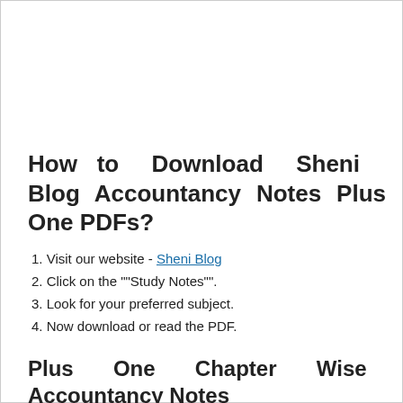How to Download Sheni Blog Accountancy Notes Plus One PDFs?
1. Visit our website - Sheni Blog
2. Click on the ""Study Notes"".
3. Look for your preferred subject.
4. Now download or read the PDF.
Plus One Chapter Wise Accountancy Notes
Chapter 1: Introduction to Accounting